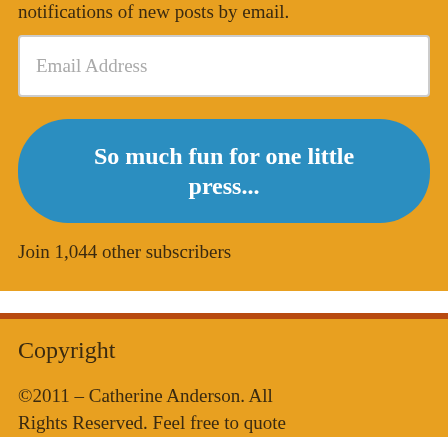notifications of new posts by email.
Email Address
So much fun for one little press...
Join 1,044 other subscribers
Copyright
©2011 – Catherine Anderson. All Rights Reserved. Feel free to quote